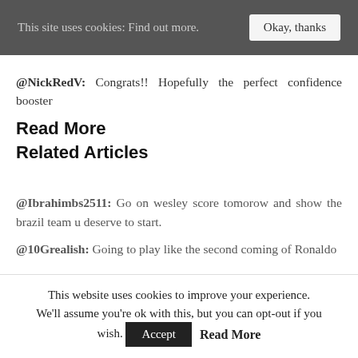This site uses cookies: Find out more.  [Okay, thanks]
@NickRedV: Congrats!! Hopefully the perfect confidence booster
Read More
Related Articles
@Ibrahimbs2511: Go on wesley score tomorow and show the brazil team u deserve to start.
@10Grealish: Going to play like the second coming of Ronaldo
This website uses cookies to improve your experience. We'll assume you're ok with this, but you can opt-out if you wish.  Accept  Read More